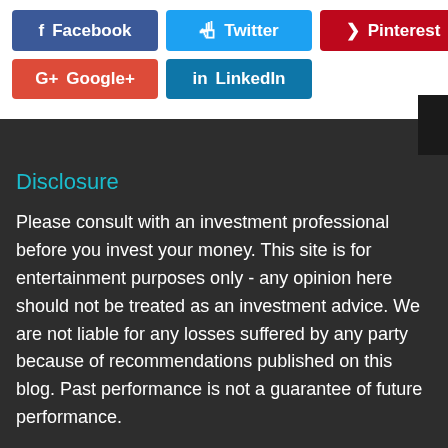[Figure (other): Social media share buttons: Facebook (blue), Twitter (cyan), Pinterest (red) on first row; Google+ (red), LinkedIn (teal) on second row]
Disclosure
Please consult with an investment professional before you invest your money. This site is for entertainment purposes only - any opinion here should not be treated as an investment advice. We are not liable for any losses suffered by any party because of recommendations published on this blog. Past performance is not a guarantee of future performance.